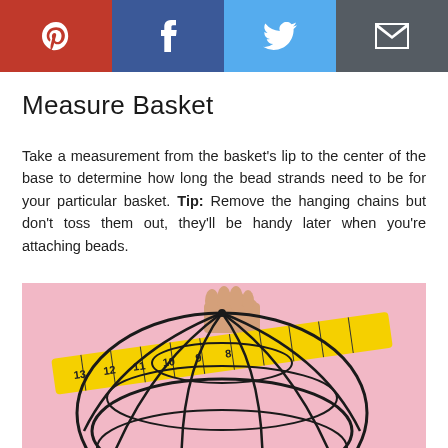[Figure (infographic): Social sharing bar with four buttons: Pinterest (red), Facebook (dark blue), Twitter (light blue), Email (dark gray), each with white icon]
Measure Basket
Take a measurement from the basket's lip to the center of the base to determine how long the bead strands need to be for your particular basket. Tip: Remove the hanging chains but don't toss them out, they'll be handy later when you're attaching beads.
[Figure (photo): A hand holding a yellow measuring tape across a wire basket sphere frame, against a pink background]